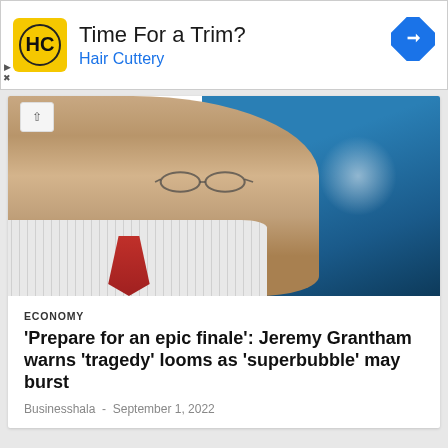[Figure (infographic): Hair Cuttery advertisement banner with logo, 'Time For a Trim?' headline, 'Hair Cuttery' subtitle in blue, and a blue diamond navigation arrow icon]
[Figure (photo): Close-up profile photo of an elderly man with glasses, grey hair, wearing a striped shirt and red tie, against a blue background]
ECONOMY
'Prepare for an epic finale': Jeremy Grantham warns 'tragedy' looms as 'superbubble' may burst
Businesshala - September 1, 2022